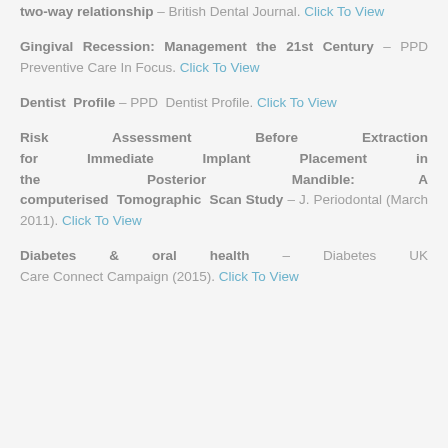two-way relationship – British Dental Journal. Click To View
Gingival Recession: Management the 21st Century – PPD Preventive Care In Focus. Click To View
Dentist Profile – PPD Dentist Profile. Click To View
Risk Assessment Before Extraction for Immediate Implant Placement in the Posterior Mandible: A computerised Tomographic Scan Study – J. Periodontal (March 2011). Click To View
Diabetes & oral health – Diabetes UK Care Connect Campaign (2015). Click To View